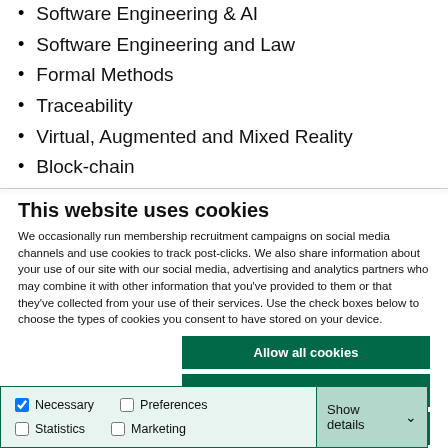Software Engineering & AI
Software Engineering and Law
Formal Methods
Traceability
Virtual, Augmented and Mixed Reality
Block-chain
This website uses cookies
We occasionally run membership recruitment campaigns on social media channels and use cookies to track post-clicks. We also share information about your use of our site with our social media, advertising and analytics partners who may combine it with other information that you’ve provided to them or that they’ve collected from your use of their services. Use the check boxes below to choose the types of cookies you consent to have stored on your device.
Allow all cookies | Allow selected cookies | Use necessary cookies only
Necessary | Preferences | Statistics | Marketing | Show details